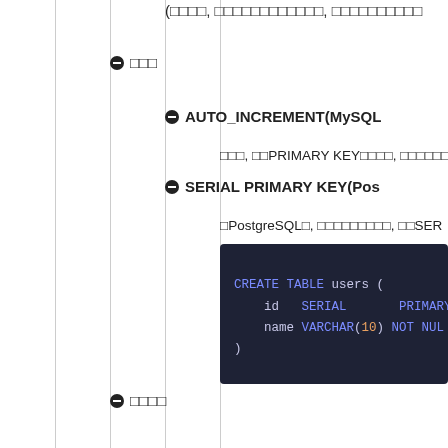(□□□□, □□□□□□□□□□□□, □□□□□□□□□□
● □□□
● AUTO_INCREMENT(MySQL
□□□, □□PRIMARY KEY□□□□, □□□□□□
● SERIAL PRIMARY KEY(Pos
□PostgreSQL□, □□□□□□□□□, □□SER
[Figure (screenshot): Code block showing: CREATE TABLE users ( id SERIAL PRIMARY, name VARCHAR(10) NOT NUL, )]
● □□□□
□□□□□UNIQUE, □□□□, □□NULL(NULL□□□□□) □□□UNIQUE□□NOT NULL□□□NULL□.
● □□□□□□
[Figure (screenshot): Code block showing: CREATE TABLE table_name ( ... UNIQUE (column_name1,]